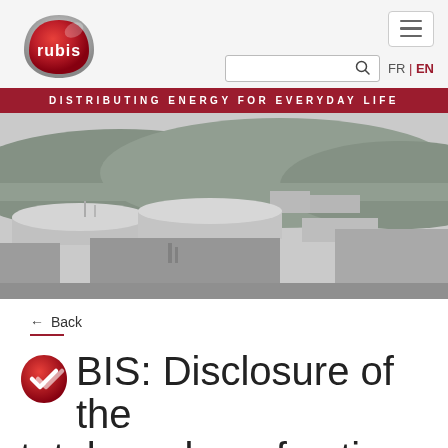[Figure (logo): Rubis company logo – red teardrop/shield shape with white 'rubis' text]
[Figure (screenshot): Hamburger menu button (three horizontal lines) with search box and FR|EN language selector]
DISTRIBUTING ENERGY FOR EVERYDAY LIFE
[Figure (photo): Black and white photograph of large industrial oil storage tanks with forested hills in the background]
← Back
RUBIS: Disclosure of the total number of voting...